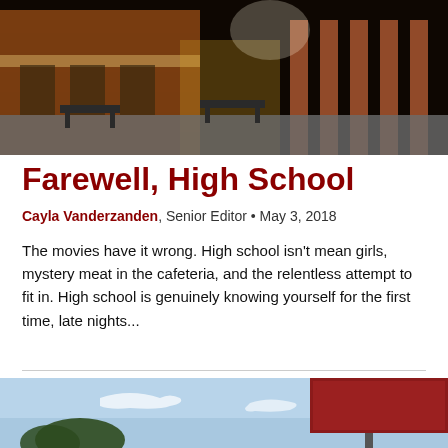[Figure (photo): Exterior view of a brick high school building with benches, columns, and pavement area photographed in natural light.]
Farewell, High School
Cayla Vanderzanden, Senior Editor • May 3, 2018
The movies have it wrong. High school isn't mean girls, mystery meat in the cafeteria, and the relentless attempt to fit in. High school is genuinely knowing yourself for the first time, late nights...
[Figure (photo): Outdoor photo showing a blue sky with a red school sign/marquee structure and trees in the foreground.]